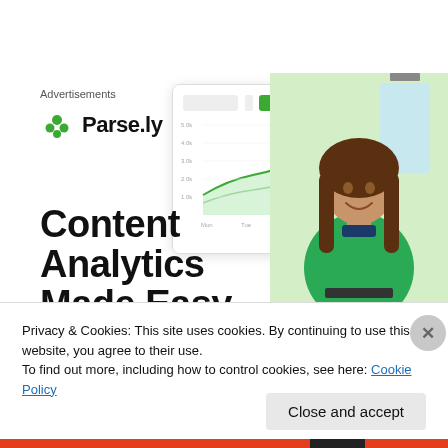Advertisements
[Figure (logo): Parse.ly logo with green leaf icon and bold text Parse.ly]
[Figure (screenshot): Parse.ly analytics dashboard showing a line chart with green area, traffic metrics UI]
[Figure (photo): Woman with brown hair wearing a green sweater, smiling, standing in a bright room]
Content Analytics Made Easy
Privacy & Cookies: This site uses cookies. By continuing to use this website, you agree to their use.
To find out more, including how to control cookies, see here: Cookie Policy
Close and accept